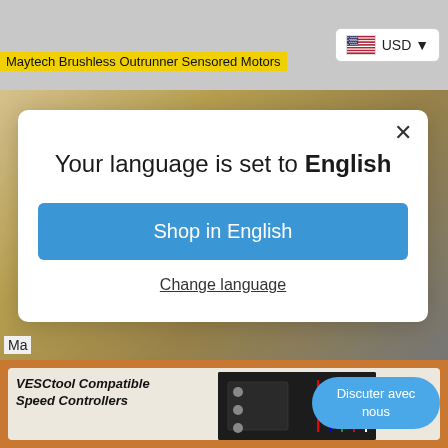Maytech Brushless Outrunner Sensored Motors
USD
Your language is set to English
Shop in English
Change language
Ma
Discuter avec nous
VESCtool Compatible Speed Controllers